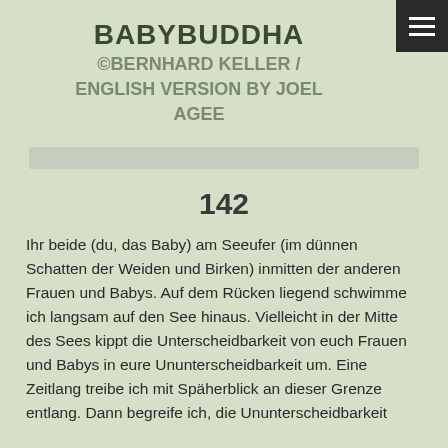BABYBUDDHA
©BERNHARD KELLER / ENGLISH VERSION BY JOEL AGEE
142
Ihr beide (du, das Baby) am Seeufer (im dünnen Schatten der Weiden und Birken) inmitten der anderen Frauen und Babys. Auf dem Rücken liegend schwimme ich langsam auf den See hinaus. Vielleicht in der Mitte des Sees kippt die Unterscheidbarkeit von euch Frauen und Babys in eure Ununterscheidbarkeit um. Eine Zeitlang treibe ich mit Späherblick an dieser Grenze entlang. Dann begreife ich, die Ununterscheidbarkeit